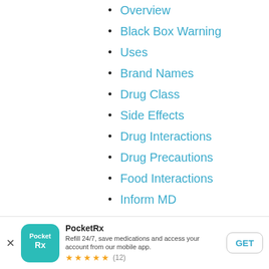Overview
Black Box Warning
Uses
Brand Names
Drug Class
Side Effects
Drug Interactions
Drug Precautions
Food Interactions
Inform MD
Pregnancy
Lactation
Drug Usage
PocketRx
Refill 24/7, save medications and access your account from our mobile app.
★★★★★ (12)